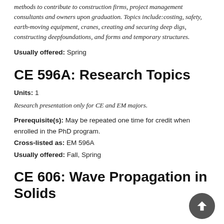methods to contribute to construction firms, project management consultants and owners upon graduation. Topics include: costing, safety, earth-moving equipment, cranes, creating and securing deep digs, constructing deep foundations, and forms and temporary structures.
Usually offered: Spring
CE 596A: Research Topics
Units: 1
Research presentation only for CE and EM majors.
Prerequisite(s): May be repeated one time for credit when enrolled in the PhD program.
Cross-listed as: EM 596A
Usually offered: Fall, Spring
CE 606: Wave Propagation in Solids